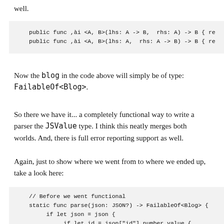well.
[Figure (screenshot): Code block showing two public func declarations with generic type parameters A, B]
Now the blog in the code above will simply be of type: FailableOf<Blog>.
So there we have it... a completely functional way to write a parser the JSValue type. I think this neatly merges both worlds. And, there is full error reporting support as well.
Again, just to show where we went from to where we ended up, take a look here:
[Figure (screenshot): Code block showing // Before we went functional, static func parse(json: JSON?) -> FailableOf<Blog> { if let json = json { if let id = json["id"].number.value { if let name = json["name"].string.value { if let needspassword = json["needspas]